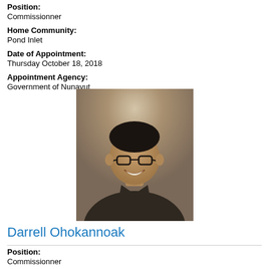Position:
Commissionner
Home Community:
Pond Inlet
Date of Appointment:
Thursday October 18, 2018
Appointment Agency:
Government of Nunavut
[Figure (photo): Portrait photo of Darrell Ohokannoak, a man wearing glasses and a dark shirt, smiling, against a tan/brown background with overhead light]
Darrell Ohokannoak
Position:
Commissionner